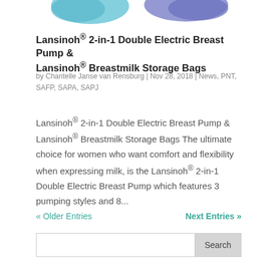[Figure (illustration): Partial top of product images showing Lansinoh breast pump and storage bags (cropped at top of page)]
Lansinoh® 2-in-1 Double Electric Breast Pump & Lansinoh® Breastmilk Storage Bags
by Chantelle Janse van Rensburg | Nov 28, 2018 | News, PNT, SAFP, SAPA, SAPJ
Lansinoh® 2-in-1 Double Electric Breast Pump & Lansinoh® Breastmilk Storage Bags The ultimate choice for women who want comfort and flexibility when expressing milk, is the Lansinoh® 2-in-1 Double Electric Breast Pump which features 3 pumping styles and 8...
« Older Entries   Next Entries »